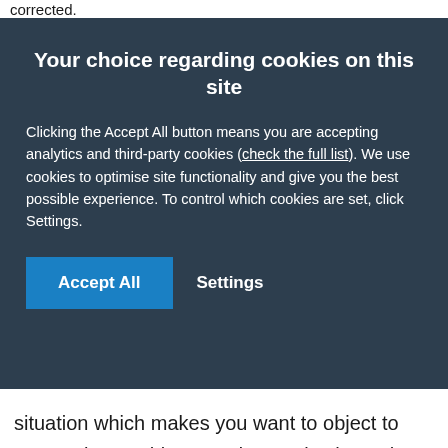corrected.
Your choice regarding cookies on this site
Clicking the Accept All button means you are accepting analytics and third-party cookies (check the full list). We use cookies to optimise site functionality and give you the best possible experience. To control which cookies are set, click Settings.
situation which makes you want to object to processing on this ground. You also have the